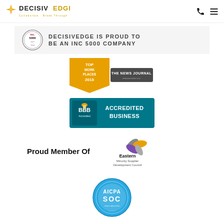[Figure (logo): DecisivEdge logo with tagline 'Collaborate · Break Through' and navigation icons (phone and hamburger menu)]
[Figure (logo): Inc 5000 #927 badge with text 'DECISIVEDGE IS PROUD TO BE AN INC 5000 COMPANY']
[Figure (logo): Top Work Places 2018 - The News Journal badge]
[Figure (logo): BBB Accredited Business badge]
[Figure (logo): Proud Member Of Eastern Minority Supplier Development Council with logo]
[Figure (logo): AICPA SOC badge]